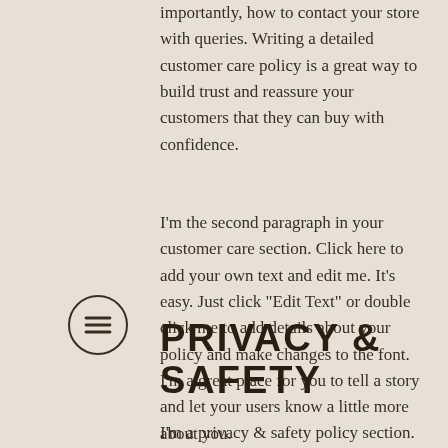importantly, how to contact your store with queries. Writing a detailed customer care policy is a great way to build trust and reassure your customers that they can buy with confidence.
I'm the second paragraph in your customer care section. Click here to add your own text and edit me. It's easy. Just click "Edit Text" or double click me to add details about your policy and make changes to the font. I'm a great place for you to tell a story and let your users know a little more about you.
[Figure (other): Hamburger menu icon — three horizontal lines inside a circle]
PRIVACY & SAFETY
I'm a privacy & safety policy section. I'm a great place to inform your customers